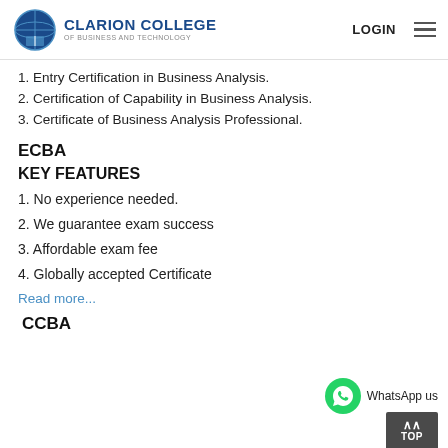Clarion College of Business and Technology — LOGIN
1. Entry Certification in Business Analysis.
2. Certification of Capability in Business Analysis.
3. Certificate of Business Analysis Professional.
ECBA
KEY FEATURES
1. No experience needed.
2. We guarantee exam success
3. Affordable exam fee
4. Globally accepted Certificate
Read more...
CCBA